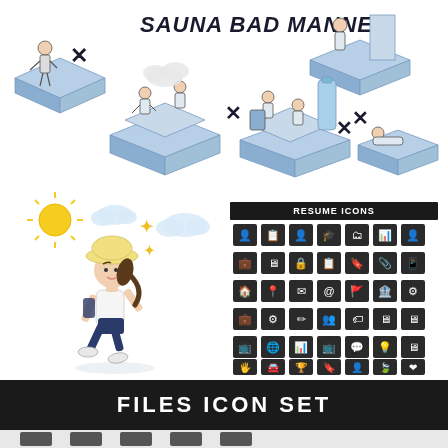[Figure (illustration): Isometric illustration showing 'SAUNA BAD MANNER' — multiple scenes of sauna etiquette violations each marked with a bold X symbol. Scenes include people making noise, using phones, bringing food/drinks, and lying down inappropriately. Blue and white color scheme.]
SAUNA BAD MANNER
[Figure (illustration): Cartoon runner girl wearing a yellow hat and blue shorts, running with clenched fists. Weather icons (sun, cloud, star/sparkle) in background.]
[Figure (infographic): Resume Icons set — a grid of small black icons related to resumes: documents, computer, briefcase, phone, location pin, email, globe, trophy, etc. Header reads 'RESUME ICONS' in a dark banner.]
FILES ICON SET
[Figure (illustration): Partial view of Files Icon Set icons at the very bottom of the page, cut off.]